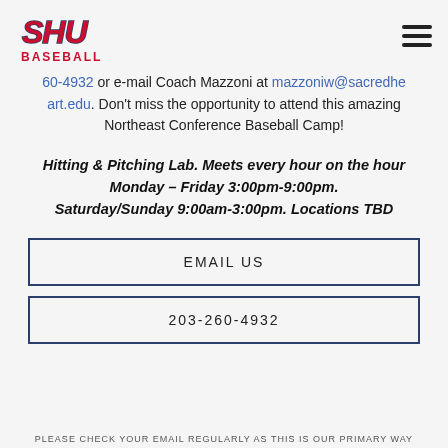SHU Baseball
60-4932 or e-mail Coach Mazzoni at mazzoniw@sacredheart.edu. Don't miss the opportunity to attend this amazing Northeast Conference Baseball Camp!
Hitting & Pitching Lab. Meets every hour on the hour Monday – Friday 3:00pm-9:00pm. Saturday/Sunday 9:00am-3:00pm. Locations TBD
EMAIL US
203-260-4932
PLEASE CHECK YOUR EMAIL REGULARLY AS THIS IS OUR PRIMARY WAY